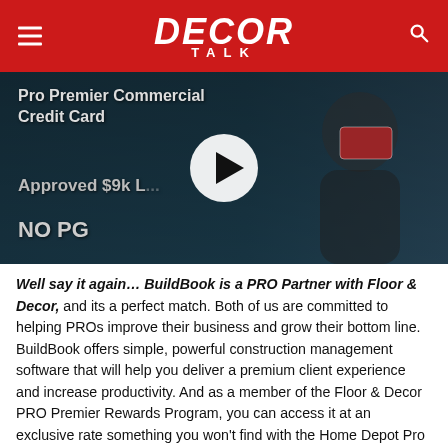DECOR TALK
[Figure (screenshot): Video thumbnail showing a man holding a credit card against a dark teal background. Text overlay reads: 'Pro Premier Commercial Credit Card', 'Approved $9k L...', 'NO PG'. A white play button circle is centered on the thumbnail.]
Well say it again... BuildBook is a PRO Partner with Floor & Decor, and its a perfect match. Both of us are committed to helping PROs improve their business and grow their bottom line. BuildBook offers simple, powerful construction management software that will help you deliver a premium client experience and increase productivity. And as a member of the Floor & Decor PRO Premier Rewards Program, you can access it at an exclusive rate something you won't find with the Home Depot Pro Xtra Loyalty Program.